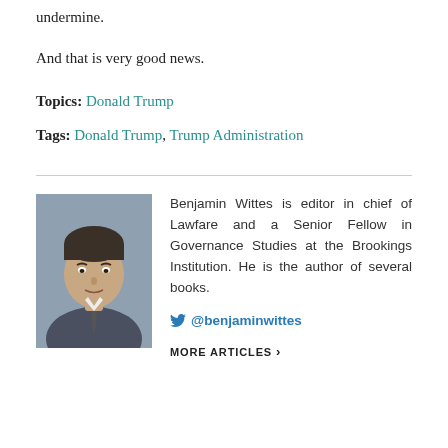undermine.
And that is very good news.
Topics: Donald Trump
Tags: Donald Trump, Trump Administration
[Figure (photo): Headshot photo of Benjamin Wittes, a man in a suit speaking at a podium]
Benjamin Wittes is editor in chief of Lawfare and a Senior Fellow in Governance Studies at the Brookings Institution. He is the author of several books.
@benjaminwittes
MORE ARTICLES >